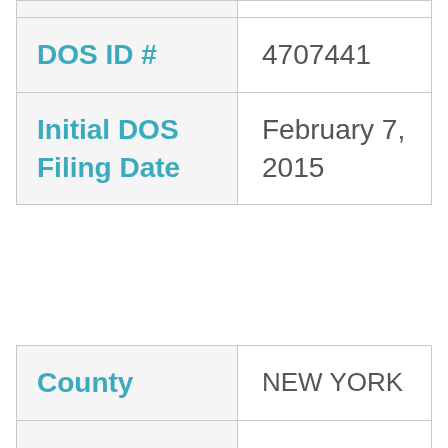| Field | Value |
| --- | --- |
| DOS ID # | 4707441 |
| Initial DOS Filing Date | February 7, 2015 |
| Field | Value |
| --- | --- |
| County | NEW YORK |
| ... | ... |